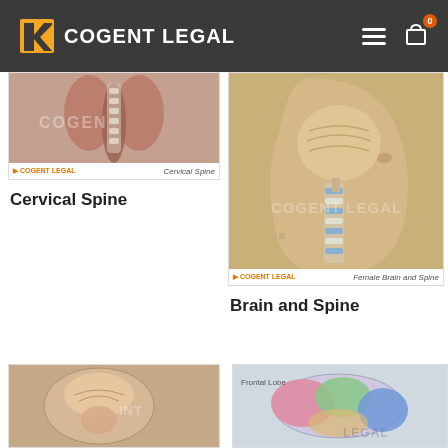COGENT LEGAL
[Figure (photo): Cervical spine anatomical illustration showing muscles and vertebrae, with Cogent Legal watermark and label 'Cervical Spine']
Cervical Spine
[Figure (photo): Female Brain and Spine anatomical model showing cross-section of head with brain, spine and neck structures, with Cogent Legal watermark and label 'Female Brain and Spine']
Brain and Spine
[Figure (photo): Brain cross-section anatomical illustration showing internal structures]
[Figure (photo): Brain lobe diagram with colored regions (pink, green, blue) and label 'Frontal Lobe']